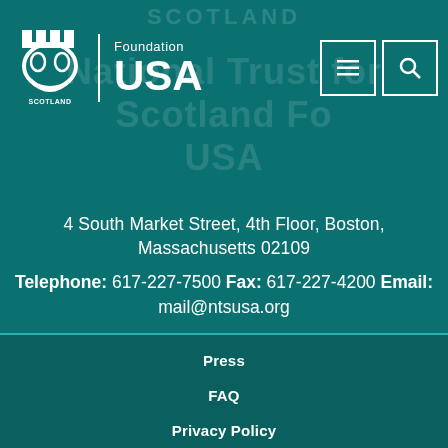[Figure (logo): National Trust for Scotland Foundation USA logo with castle/shield emblem, vertical divider, and Foundation USA text]
4 South Market Street, 4th Floor, Boston, Massachusetts 02109
Telephone: 617-227-7500 Fax: 617-227-4200 Email: mail@ntsusa.org
Press
FAQ
Privacy Policy
Terms and Conditions
Accessibility Policy